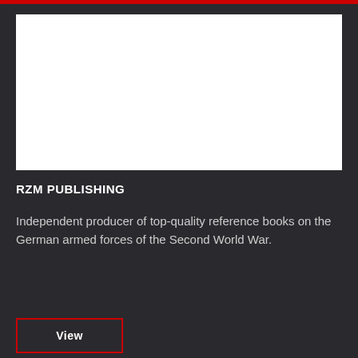[Figure (photo): White blank image placeholder area on dark background]
RZM PUBLISHING
Independent producer of top-quality reference books on the German armed forces of the Second World War.
View